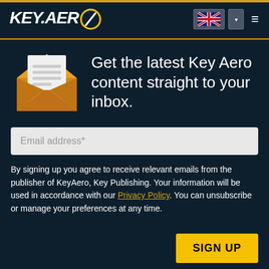KEY.AERO
Get the latest Key Aero content straight to your inbox.
[Figure (illustration): Email envelope icon — golden/amber open envelope with a white letter document inside]
Email address*
By signing up you agree to receive relevant emails from the publisher of KeyAero, Key Publishing. Your information will be used in accordance with our Privacy Policy. You can unsubscribe or manage your preferences at any time.
SIGN UP